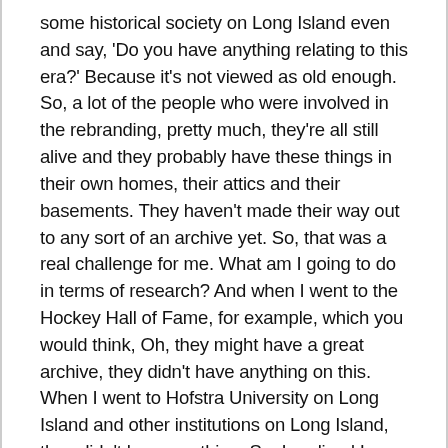some historical society on Long Island even and say, 'Do you have anything relating to this era?' Because it's not viewed as old enough. So, a lot of the people who were involved in the rebranding, pretty much, they're all still alive and they probably have these things in their own homes, their attics and their basements. They haven't made their way out to any sort of an archive yet. So, that was a real challenge for me. What am I going to do in terms of research? And when I went to the Hockey Hall of Fame, for example, which you would think, Oh, they might have a great archive, they didn't have anything on this. When I went to Hofstra University on Long Island and other institutions on Long Island, they didn't have anything. So, I realized I was going to have to do this in a non-traditional way. So part of it was doing oral history interviews. The advantage of doing something in recent history is that most of the people are alive. Why not track them down and ask them questions about it? And enough time had passed that I felt emotions aren't as raw as they might